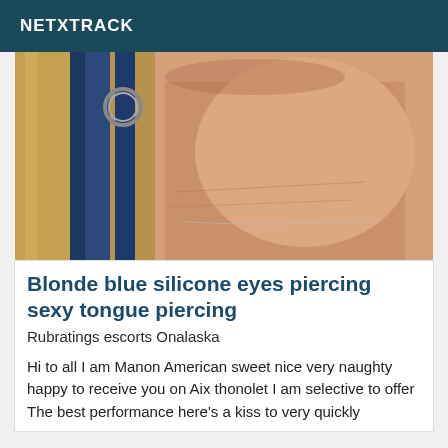NETXTRACK
[Figure (photo): Close-up photo of a person's neck and lower face area, with long blonde and blue-streaked hair and a hoop earring visible on the left side]
Blonde blue silicone eyes piercing sexy tongue piercing
Rubratings escorts Onalaska
Hi to all I am Manon American sweet nice very naughty happy to receive you on Aix thonolet I am selective to offer The best performance here's a kiss to very quickly